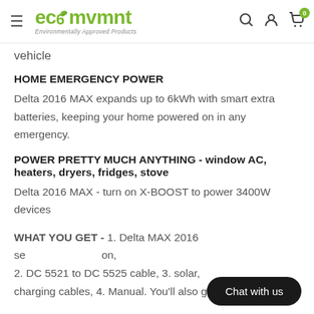ecomvmnt – Environmentally Approved Products
vehicle
HOME EMERGENCY POWER
Delta 2016 MAX expands up to 6kWh with smart extra batteries, keeping your home powered on in any emergency.
POWER PRETTY MUCH ANYTHING - window AC, heaters, dryers, fridges, stove
Delta 2016 MAX - turn on X-BOOST to power 3400W devices
WHAT YOU GET -
1. Delta MAX 2016 se…on, 2. DC 5521 to DC 5525 cable, 3. solar, charging cables, 4. Manual. You'll also get a 24-month